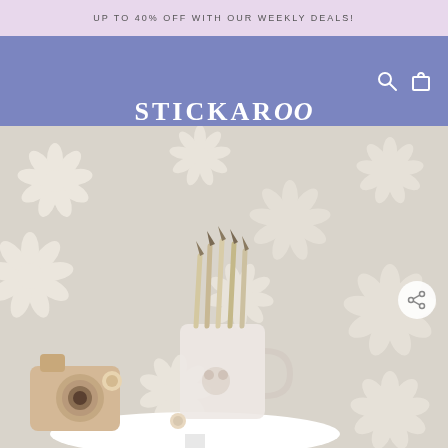UP TO 40% OFF WITH OUR WEEKLY DEALS!
[Figure (logo): Stickaroo logo with tagline 'Love Where You Live' on blue/purple navigation bar with hamburger menu and search/cart icons]
[Figure (photo): Room scene showing daisy flower wall stickers on a beige/warm gray wall, with a white side table holding a toy wooden camera, a mug with colored pencils, and decorative items]